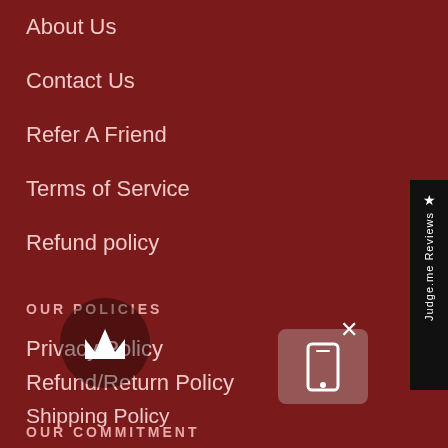About Us
Contact Us
Refer A Friend
Terms of Service
Refund policy
OUR POLICIES
Privacy Policy
Refund/Return Policy
Shipping Policy
Reviews
Terms of Service
[Figure (other): Judge.me Reviews sidebar badge]
[Figure (other): Crown loyalty badge icon]
[Figure (other): Mobile phone popup icon with close button]
OUR COMMITMENT